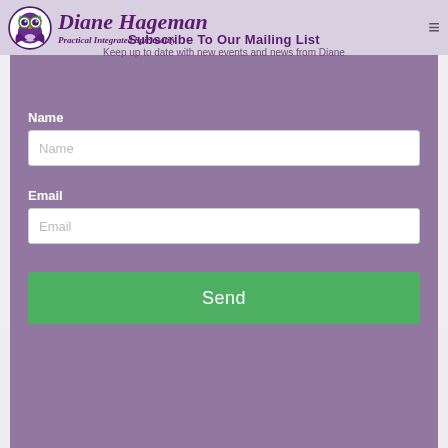Diane Hageman — Practical Integrated Spirituality
Subscribe To Our Mailing List
Keep up to date with new events and news from Diane
Name
Email
Send
Privacy Policy
© 2020 ALL RIGHTS RESERVED